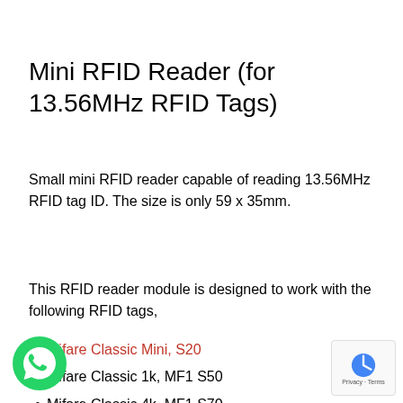Mini RFID Reader (for 13.56MHz RFID Tags)
Small mini RFID reader capable of reading 13.56MHz RFID tag ID. The size is only 59 x 35mm.
This RFID reader module is designed to work with the following RFID tags,
Mifare Classic Mini, S20
Mifare Classic 1k, MF1 S50
Mifare Classic 4k, MF1 S70